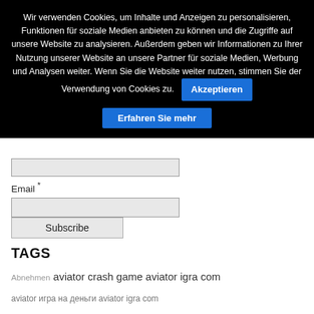Wir verwenden Cookies, um Inhalte und Anzeigen zu personalisieren, Funktionen für soziale Medien anbieten zu können und die Zugriffe auf unsere Website zu analysieren. Außerdem geben wir Informationen zu Ihrer Nutzung unserer Website an unsere Partner für soziale Medien, Werbung und Analysen weiter. Wenn Sie die Website weiter nutzen, stimmen Sie der Verwendung von Cookies zu.
Akzeptieren
Erfahren Sie mehr
Email *
Subscribe
TAGS
Abnehmen aviator crash game aviator igra com aviator игра на деньги aviator igra com aviator игра на деньги отзывы Buchvorstellung CD Banq cdbanq Diät Eiweiß EMS Ernäh...